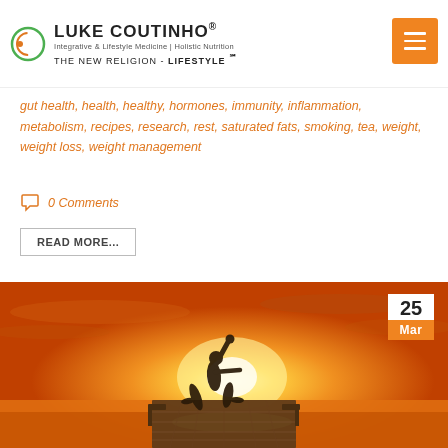LUKE COUTINHO® Integrative & Lifestyle Medicine | Holistic Nutrition THE NEW RELIGION - LIFESTYLE ℠
gut health, health, healthy, hormones, immunity, inflammation, metabolism, recipes, research, rest, saturated fats, smoking, tea, weight, weight loss, weight management
0 Comments
READ MORE...
[Figure (photo): Person performing a warrior yoga pose on a wooden dock/pier over water during a golden sunset. The silhouette is backlit against a bright orange and yellow sky with dramatic clouds. Date badge showing 25 Mar appears in the top right corner.]